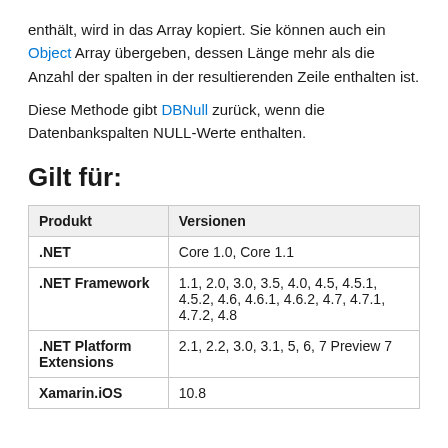enthält, wird in das Array kopiert. Sie können auch ein Object Array übergeben, dessen Länge mehr als die Anzahl der spalten in der resultierenden Zeile enthalten ist.
Diese Methode gibt DBNull zurück, wenn die Datenbankspalten NULL-Werte enthalten.
Gilt für:
| Produkt | Versionen |
| --- | --- |
| .NET | Core 1.0, Core 1.1 |
| .NET Framework | 1.1, 2.0, 3.0, 3.5, 4.0, 4.5, 4.5.1, 4.5.2, 4.6, 4.6.1, 4.6.2, 4.7, 4.7.1, 4.7.2, 4.8 |
| .NET Platform Extensions | 2.1, 2.2, 3.0, 3.1, 5, 6, 7 Preview 7 |
| Xamarin.iOS | 10.8 |